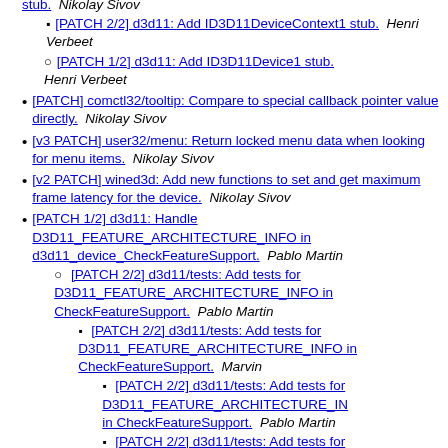[PATCH 2/2] d3d11: Add ID3D11DeviceContext1 stub.  Nikolay Sivov (truncated at top)
[PATCH 2/2] d3d11: Add ID3D11DeviceContext1 stub.  Henri Verbeet
[PATCH 1/2] d3d11: Add ID3D11Device1 stub.  Henri Verbeet
[PATCH] comctl32/tooltip: Compare to special callback pointer value directly.  Nikolay Sivov
[v3 PATCH] user32/menu: Return locked menu data when looking for menu items.  Nikolay Sivov
[v2 PATCH] wined3d: Add new functions to set and get maximum frame latency for the device.  Nikolay Sivov
[PATCH 1/2] d3d11: Handle D3D11_FEATURE_ARCHITECTURE_INFO in d3d11_device_CheckFeatureSupport.  Pablo Martin
[PATCH 2/2] d3d11/tests: Add tests for D3D11_FEATURE_ARCHITECTURE_INFO in CheckFeatureSupport.  Pablo Martin
[PATCH 2/2] d3d11/tests: Add tests for D3D11_FEATURE_ARCHITECTURE_INFO in CheckFeatureSupport.  Marvin
[PATCH 2/2] d3d11/tests: Add tests for D3D11_FEATURE_ARCHITECTURE_IN in CheckFeatureSupport.  Pablo Martin
[PATCH 2/2] d3d11/tests: Add tests for D3D11_FEATURE_ARCHITECTURE_IN (truncated)